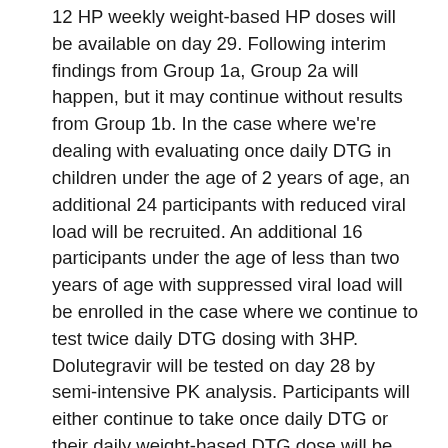12 HP weekly weight-based HP doses will be available on day 29. Following interim findings from Group 1a, Group 2a will happen, but it may continue without results from Group 1b. In the case where we're dealing with evaluating once daily DTG in children under the age of 2 years of age, an additional 24 participants with reduced viral load will be recruited. An additional 16 participants under the age of less than two years of age with suppressed viral load will be enrolled in the case where we continue to test twice daily DTG dosing with 3HP. Dolutegravir will be tested on day 28 by semi-intensive PK analysis. Participants will either continue to take once daily DTG or their daily weight-based DTG dose will be raised to twice daily on day 29 or the first of the 12 HP weekly weight-based HP doses will be delivered. On Days 44 and 48, additional